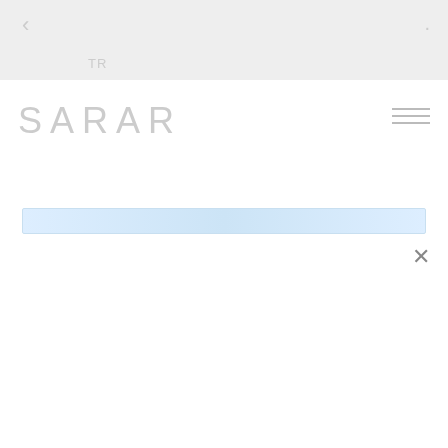TR
[Figure (logo): SARAR brand logo in light gray letters]
[Figure (other): Hamburger menu icon with three horizontal lines]
[Figure (other): Light blue search/input bar]
[Figure (other): Close (X) icon]